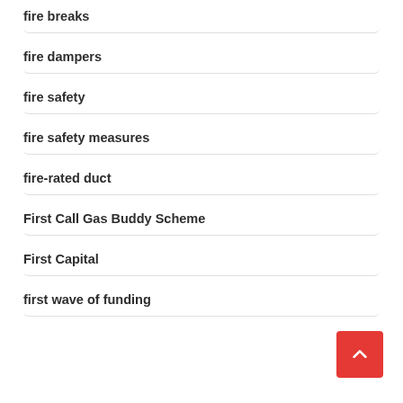fire breaks
fire dampers
fire safety
fire safety measures
fire-rated duct
First Call Gas Buddy Scheme
First Capital
first wave of funding